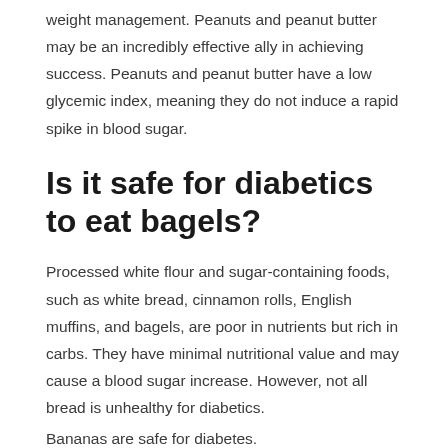weight management. Peanuts and peanut butter may be an incredibly effective ally in achieving success. Peanuts and peanut butter have a low glycemic index, meaning they do not induce a rapid spike in blood sugar.
Is it safe for diabetics to eat bagels?
Processed white flour and sugar-containing foods, such as white bread, cinnamon rolls, English muffins, and bagels, are poor in nutrients but rich in carbs. They have minimal nutritional value and may cause a blood sugar increase. However, not all bread is unhealthy for diabetics.
Bananas are safe for diabetes.
Bananas are a safe and healthy fruit that may be consumed in moderation by persons with diabetes as part of a balanced, customized diet plan. A diabetic should consume fresh, plant-based foods such as fruits and vegetables. Bananas are a good source of nourishment without adding a lot of calories.